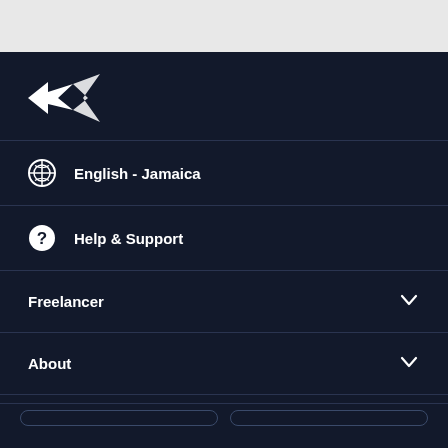[Figure (logo): Freelancer.com hummingbird logo in white]
English - Jamaica
Help & Support
Freelancer
About
Terms